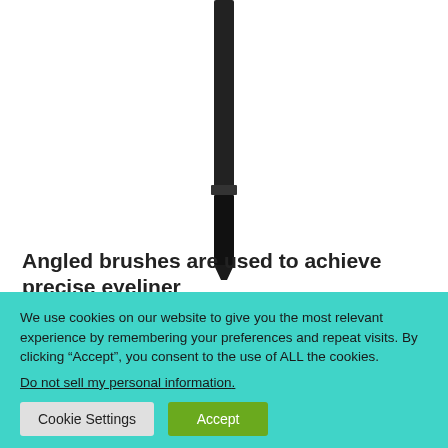[Figure (photo): A black angled makeup brush shown vertically against a white background, with the handle at top and brush tip at bottom.]
Angled brushes are used to achieve precise eyeliner designs such as cat-eye.
We use cookies on our website to give you the most relevant experience by remembering your preferences and repeat visits. By clicking “Accept”, you consent to the use of ALL the cookies.
Do not sell my personal information.
Cookie Settings | Accept